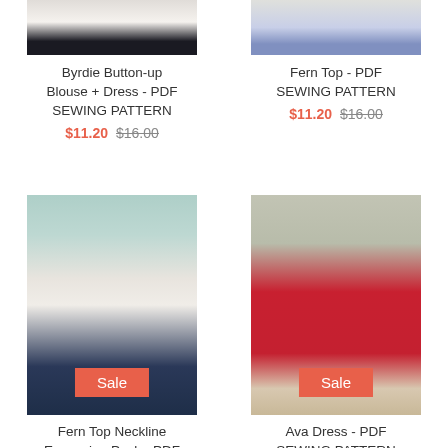[Figure (photo): Partial view of person wearing white button-up blouse and dark pants]
Byrdie Button-up Blouse + Dress - PDF SEWING PATTERN
$11.20  $16.00
[Figure (photo): Partial view of person wearing light top and jeans]
Fern Top - PDF SEWING PATTERN
$11.20  $16.00
[Figure (photo): Woman wearing white top and jeans with Sale badge overlay]
Fern Top Neckline Expansion Pack - PDF SEWING PATTERN
[Figure (photo): Woman wearing red dress with Sale badge overlay]
Ava Dress - PDF SEWING PATTERN